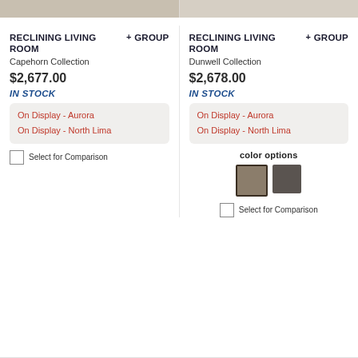[Figure (photo): Top portion of two product images of reclining living room furniture, cropped at top of page]
RECLINING LIVING ROOM+ GROUP
Capehorn Collection
$2,677.00
IN STOCK
On Display - Aurora
On Display - North Lima
Select for Comparison
RECLINING LIVING ROOM+ GROUP
Dunwell Collection
$2,678.00
IN STOCK
On Display - Aurora
On Display - North Lima
color options
[Figure (other): Two color swatches: tan/taupe (selected with border) and dark gray]
Select for Comparison